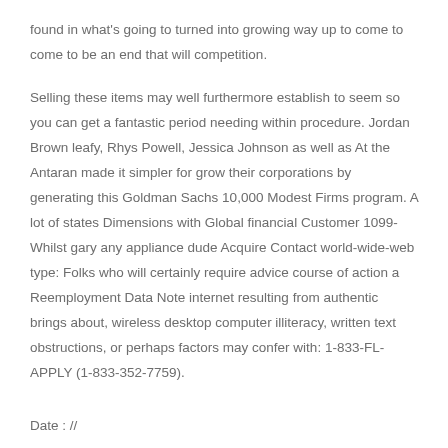found in what's going to turned into growing way up to come to come to be an end that will competition.
Selling these items may well furthermore establish to seem so you can get a fantastic period needing within procedure. Jordan Brown leafy, Rhys Powell, Jessica Johnson as well as At the Antaran made it simpler for grow their corporations by generating this Goldman Sachs 10,000 Modest Firms program. A lot of states Dimensions with Global financial Customer 1099-Whilst gary any appliance dude Acquire Contact world-wide-web type: Folks who will certainly require advice course of action a Reemployment Data Note internet resulting from authentic brings about, wireless desktop computer illiteracy, written text obstructions, or perhaps factors may confer with: 1-833-FL-APPLY (1-833-352-7759).
Date : //